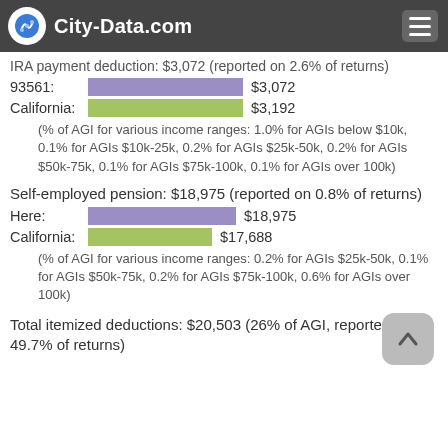City-Data.com
IRA payment deduction: $3,072 (reported on 2.6% of returns)
93561: $3,072
California: $3,192
(% of AGI for various income ranges: 1.0% for AGIs below $10k, 0.1% for AGIs $10k-25k, 0.2% for AGIs $25k-50k, 0.2% for AGIs $50k-75k, 0.1% for AGIs $75k-100k, 0.1% for AGIs over 100k)
Self-employed pension: $18,975 (reported on 0.8% of returns)
Here: $18,975
California: $17,688
(% of AGI for various income ranges: 0.2% for AGIs $25k-50k, 0.1% for AGIs $50k-75k, 0.2% for AGIs $75k-100k, 0.6% for AGIs over 100k)
Total itemized deductions: $20,503 (26% of AGI, reported on 49.7% of returns)